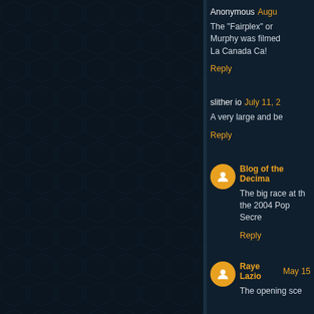Anonymous Augu...
The "Fairplex" or ... Murphy was filmed... La Canada Ca!
Reply
slither io  July 11, 2...
A very large and be...
Reply
[Figure (illustration): Orange circular blogger avatar icon]
Blog of the Decima...
The big race at th... the 2004 Pop Secre...
Reply
[Figure (illustration): Orange circular blogger avatar icon]
Raye Lazio  May 15...
The opening sce...